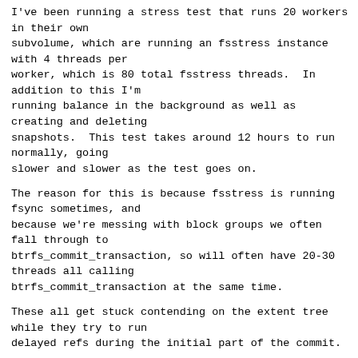I've been running a stress test that runs 20 workers in their own subvolume, which are running an fsstress instance with 4 threads per worker, which is 80 total fsstress threads.  In addition to this I'm running balance in the background as well as creating and deleting snapshots.  This test takes around 12 hours to run normally, going slower and slower as the test goes on.
The reason for this is because fsstress is running fsync sometimes, and because we're messing with block groups we often fall through to btrfs_commit_transaction, so will often have 20-30 threads all calling btrfs_commit_transaction at the same time.
These all get stuck contending on the extent tree while they try to run delayed refs during the initial part of the commit.
This is suboptimal, really because the extent tree is a single point of failure we only want one thread acting on that tree at once to reduce lock contention.  Fix this by making the flushing mechanism a bit operation, to make it easy to use test_and_set_bit() in